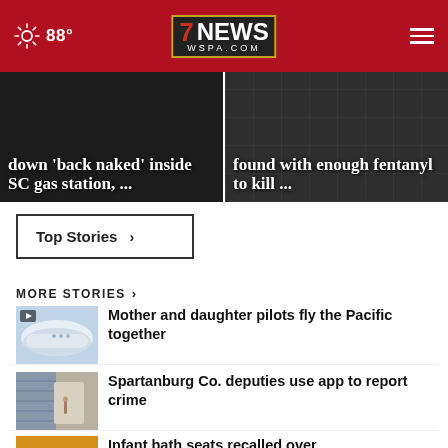88° | 7NEWS WSPA.COM
[Figure (screenshot): News story card: text overlay 'down back naked inside SC gas station, ...' on dark background]
[Figure (screenshot): News story card: text overlay 'found with enough fentanyl to kill ...' on dark background]
Top Stories ›
MORE STORIES ›
[Figure (photo): Airplane nose thumbnail]
Mother and daughter pilots fly the Pacific together
[Figure (photo): Door handle thumbnail]
Spartanburg Co. deputies use app to report crime
[Figure (photo): Guitar thumbnail]
Infant bath seats recalled over